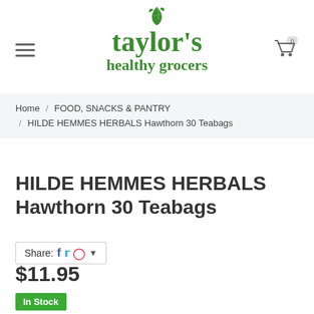taylor's healthy grocers
Home / FOOD, SNACKS & PANTRY / HILDE HEMMES HERBALS Hawthorn 30 Teabags
HILDE HEMMES HERBALS Hawthorn 30 Teabags
Share:
$11.95
In Stock